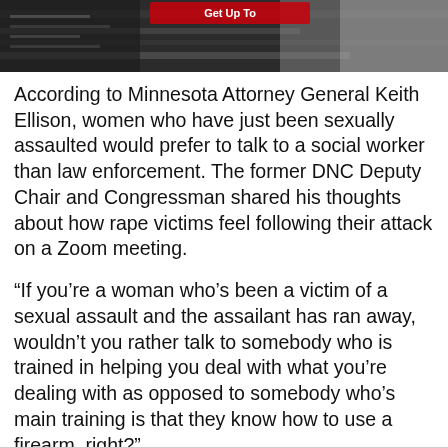[Figure (photo): Top portion of a news article page showing a partial banner image with text 'Get Up To' visible and a dark/silver background suggesting a product or advertisement image.]
According to Minnesota Attorney General Keith Ellison, women who have just been sexually assaulted would prefer to talk to a social worker than law enforcement. The former DNC Deputy Chair and Congressman shared his thoughts about how rape victims feel following their attack on a Zoom meeting.
“If you’re a woman who’s been a victim of a sexual assault and the assailant has ran away, wouldn’t you rather talk to somebody who is trained in helping you deal with what you’re dealing with as opposed to somebody who’s main training is that they know how to use a firearm, right?”